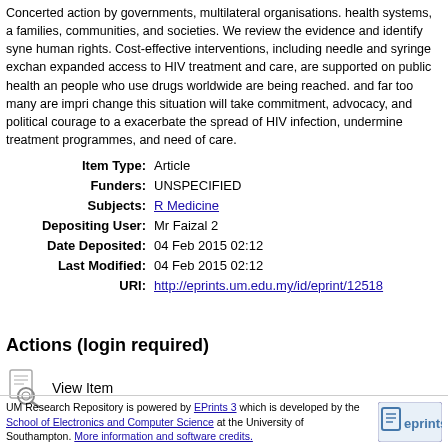Concerted action by governments, multilateral organisations. health systems, a... families, communities, and societies. We review the evidence and identify syne... human rights. Cost-effective interventions, including needle and syringe exchan... expanded access to HIV treatment and care, are supported on public health an... people who use drugs worldwide are being reached. and far too many are impri... change this situation will take commitment, advocacy, and political courage to a... exacerbate the spread of HIV infection, undermine treatment programmes, and ... need of care.
| Field | Value |
| --- | --- |
| Item Type: | Article |
| Funders: | UNSPECIFIED |
| Subjects: | R Medicine |
| Depositing User: | Mr Faizal 2 |
| Date Deposited: | 04 Feb 2015 02:12 |
| Last Modified: | 04 Feb 2015 02:12 |
| URI: | http://eprints.um.edu.my/id/eprint/12518 |
Actions (login required)
View Item
UM Research Repository is powered by EPrints 3 which is developed by the School of Electronics and Computer Science at the University of Southampton. More information and software credits.